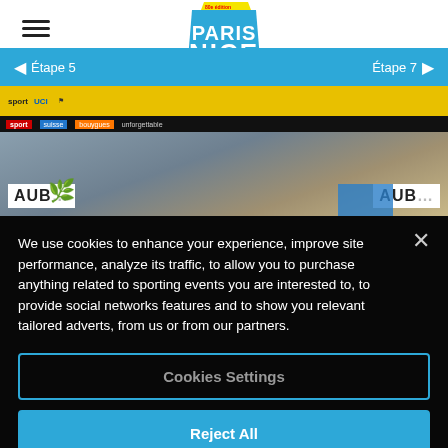Paris Nice — Étape 5 / Étape 7 navigation header
[Figure (photo): Cycling event podium or press conference photo with UCI banner, sponsors (sport, orange), flowers bouquet, and AUBA signs on white boards]
We use cookies to enhance your experience, improve site performance, analyze its traffic, to allow you to purchase anything related to sporting events you are interested to, to provide social networks features and to show you relevant tailored adverts, from us or from our partners.
Cookies Settings
Reject All
Accept All Cookies